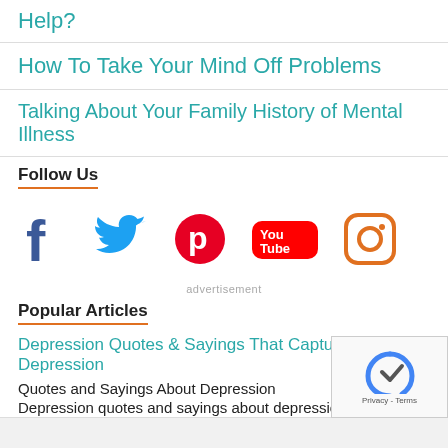Help?
How To Take Your Mind Off Problems
Talking About Your Family History of Mental Illness
Follow Us
[Figure (infographic): Social media icons: Facebook, Twitter, Pinterest, YouTube, Instagram]
advertisement
Popular Articles
Depression Quotes & Sayings That Capture Life with Depression
Quotes and Sayings About Depression
Depression quotes and sayings about depression d